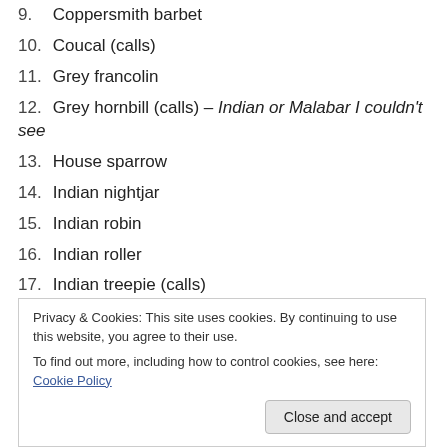9. Coppersmith barbet
10. Coucal (calls)
11. Grey francolin
12. Grey hornbill (calls) – Indian or Malabar I couldn't see
13. House sparrow
14. Indian nightjar
15. Indian robin
16. Indian roller
17. Indian treepie (calls)
18. Little brown dove
19. Magpie robin
Privacy & Cookies: This site uses cookies. By continuing to use this website, you agree to their use.
To find out more, including how to control cookies, see here: Cookie Policy
21. Purple rumped sunbird